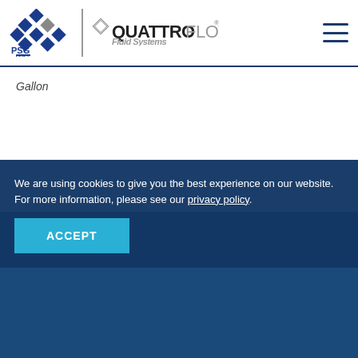[Figure (logo): PSG (a Dover company) and QuattroFlow Fluid Systems combined logo with hamburger menu icon]
Gallon
We are using cookies to give you the best experience on our website. For more information, please see our privacy policy.
ACCEPT
Downloads
Manuals
kSU
Bedienungsanleitung QF20kSU